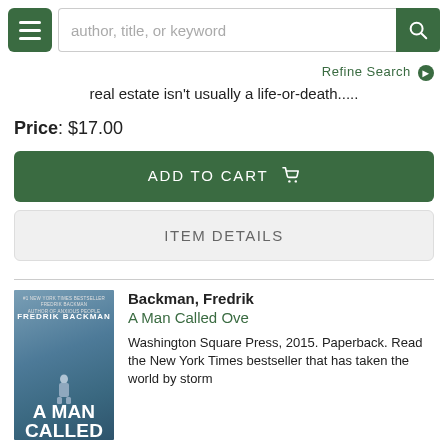author, title, or keyword [search bar]
Refine Search
real estate isn't usually a life-or-death.....
Price: $17.00
ADD TO CART
ITEM DETAILS
Backman, Fredrik
A Man Called Ove
Washington Square Press, 2015. Paperback. Read the New York Times bestseller that has taken the world by storm